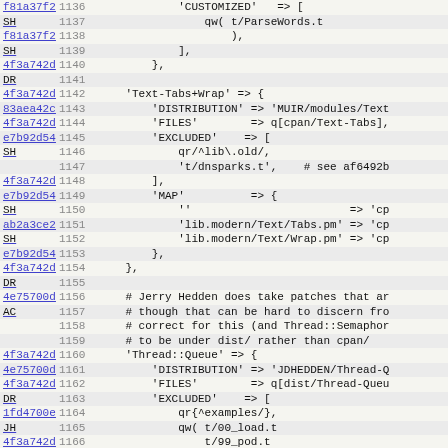[Figure (screenshot): Source code diff viewer showing Perl code lines 1136-1167 with commit hashes, line numbers, and code content columns]